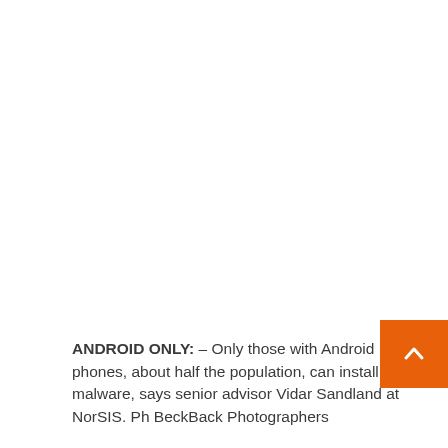ANDROID ONLY: – Only those with Android phones, about half the population, can install this malware, says senior advisor Vidar Sandland at NorSIS. Ph BeckBack Photographers